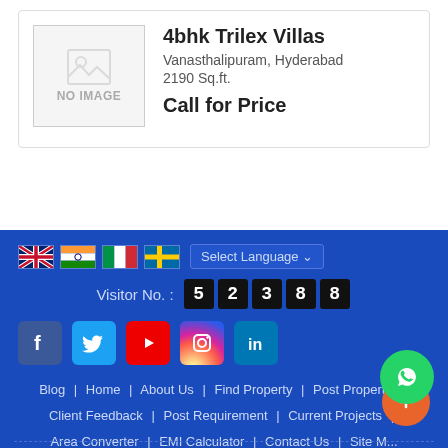[Figure (illustration): Property listing card with NO IMAGE placeholder thumbnail]
4bhk Trilex Villas
Vanasthalipuram, Hyderabad
2190 Sq.ft.
Call for Price
Visitor No. : 52388 | Blog | Home | About Us | Find Property | Post Property | Client Feedback | Post Requirement | Current Projects | Area Converter | EMI Calculator | Contact Us | Site M... | RSS